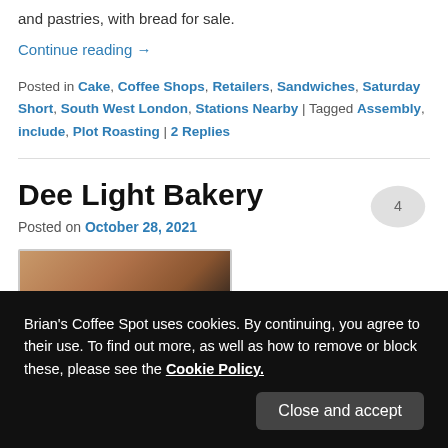and pastries, with bread for sale.
Continue reading →
Posted in Cake, Coffee Shops, Retailers, Sandwiches, Saturday Short, South West London, Stations Nearby | Tagged Assembly, include, Plot Roasting | 2 Replies
Dee Light Bakery
Posted on October 28, 2021
[Figure (photo): Partially visible photo of bakery items with dark/warm tones]
Brian's Coffee Spot uses cookies. By continuing, you agree to their use. To find out more, as well as how to remove or block these, please see the Cookie Policy.
Close and accept